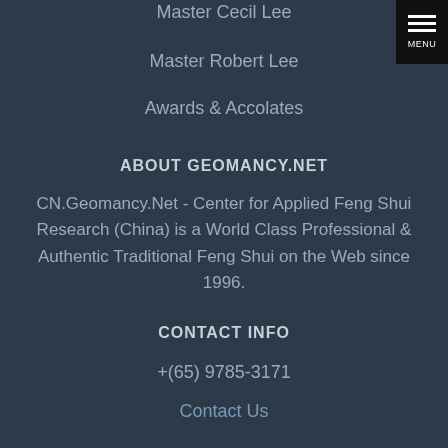Master Cecil Lee
Master Robert Lee
Awards & Accolates
ABOUT GEOMANCY.NET
CN.Geomancy.Net - Center for Applied Feng Shui Research (China) is a World Class Professional & Authentic Traditional Feng Shui on the Web since 1996.
CONTACT INFO
+(65) 9785-3171
Contact Us